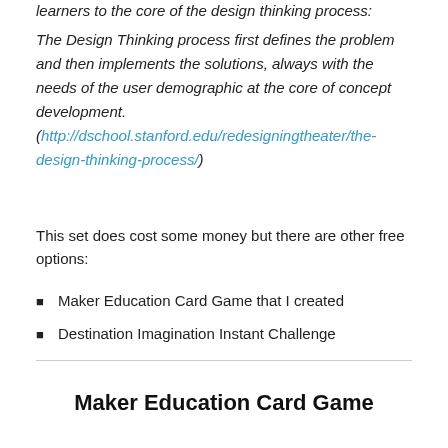learners to the core of the design thinking process:
The Design Thinking process first defines the problem and then implements the solutions, always with the needs of the user demographic at the core of concept development. (http://dschool.stanford.edu/redesigningtheater/the-design-thinking-process/)
This set does cost some money but there are other free options:
Maker Education Card Game that I created
Destination Imagination Instant Challenge
Maker Education Card Game